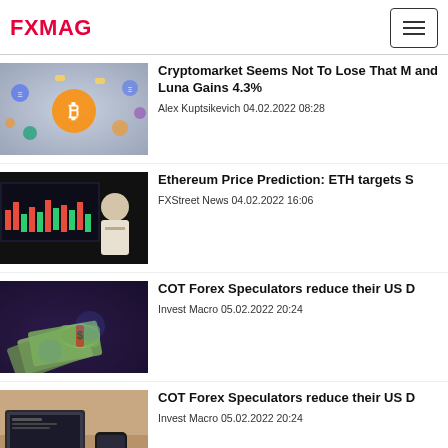FXMAG
Cryptomarket Seems Not To Lose That M and Luna Gains 4.3%
Alex Kuptsikevich 04.02.2022 08:28
[Figure (photo): Cryptocurrency coins floating including Bitcoin on grey background]
Ethereum Price Prediction: ETH targets S
FXStreet News 04.02.2022 16:06
[Figure (photo): Woman looking at financial trading screens in dark room]
COT Forex Speculators reduce their US D
Invest Macro 05.02.2022 20:24
[Figure (photo): Rolled US dollar bills on dark surface]
COT Forex Speculators reduce their US D
Invest Macro 05.02.2022 20:24
[Figure (photo): Laptop, phone and earbuds on wooden desk]